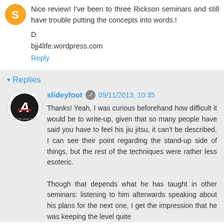Nice review! I've been to three Rickson seminars and still have trouble putting the concepts into words.!
D
bjj4life.wordpress.com
Reply
Replies
slideyfoot  09/11/2013, 10:35
Thanks! Yeah, I was curious beforehand how difficult it would be to write-up, given that so many people have said you have to feel his jiu jitsu, it can't be described. I can see their point regarding the stand-up side of things, but the rest of the techniques were rather less esoteric.
Though that depends what he has taught in other seminars: listening to him afterwards speaking about his plans for the next one, I get the impression that he was keeping the level quite